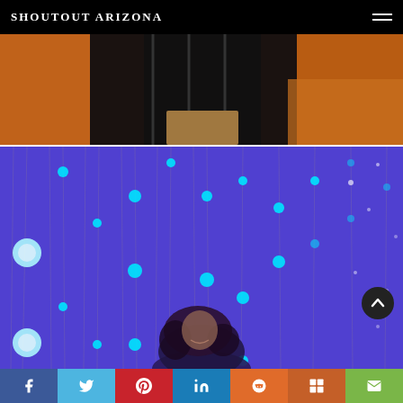SHOUTOUT ARIZONA
[Figure (photo): Partial view of a person's lower body standing outdoors in a fall desert landscape with orange-toned ground, wearing black clothing]
[Figure (photo): A woman smiling in front of a purple/blue LED light installation with hanging strands of glowing teal orbs]
Social sharing bar: Facebook, Twitter, Pinterest, LinkedIn, Reddit, Mix, Email